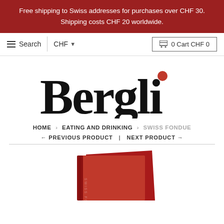Free shipping to Swiss addresses for purchases over CHF 30. Shipping costs CHF 20 worldwide.
≡ Search | CHF ▾ | 🛒 0 Cart CHF 0
[Figure (logo): Bergli logo — large handwritten-style black text 'Bergli' with a red dot above the letter i]
HOME › EATING AND DRINKING › SWISS FONDUE
← PREVIOUS PRODUCT  |  NEXT PRODUCT →
[Figure (photo): Partially visible red book cover at the bottom of the page — Swiss Fondue product]